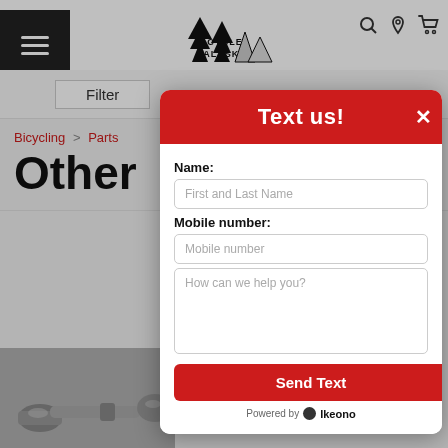[Figure (screenshot): Cycle Alaska bicycle shop website with navigation bar showing hamburger menu, logo, search/location/cart icons, filter bar, and breadcrumb navigation showing Bicycling > Parts, with page title 'Other' and bicycle parts visible in lower left]
[Figure (screenshot): Modal dialog overlay titled 'Text us!' with red header and X close button, containing form fields: Name (placeholder 'First and Last Name'), Mobile number (placeholder 'Mobile number'), message textarea (placeholder 'How can we help you?'), a red 'Send Text' button, and 'Powered by Ikeono' footer]